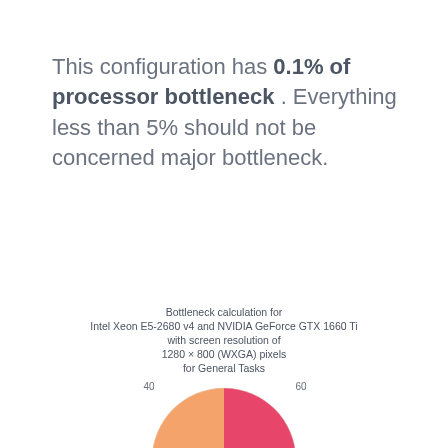This configuration has 0.1% of processor bottleneck . Everything less than 5% should not be concerned major bottleneck.
[Figure (donut-chart): A half-donut gauge chart showing bottleneck percentage. The left (orange) section represents CPU load up to ~50%, the right (pink/red) section represents GPU load. Tick marks at 40 and 60 are visible.]